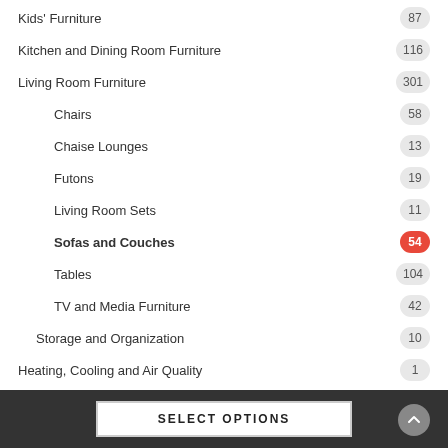Kids' Furniture 87
Kitchen and Dining Room Furniture 116
Living Room Furniture 301
Chairs 58
Chaise Lounges 13
Futons 19
Living Room Sets 11
Sofas and Couches 54
Tables 104
TV and Media Furniture 42
Storage and Organization 10
Heating, Cooling and Air Quality 1
Home and Kitchen Features 356
Home Décor 4
Home Décor Products 1
SELECT OPTIONS